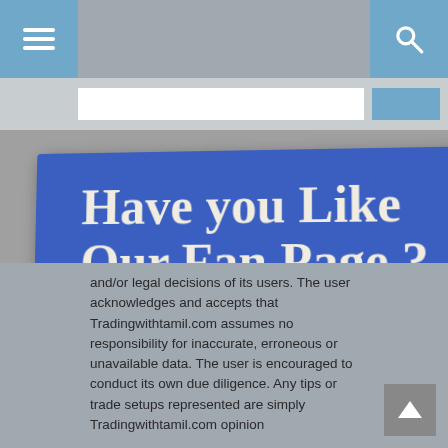[Figure (screenshot): Website navigation bar with hamburger menu icon on the left (blue background) and search icon on the right (blue background), gray center area]
[Figure (screenshot): Search input bar row below navigation]
[Figure (infographic): Facebook fan page advertisement banner with blue background, text 'Have you Like Our Fan Page ?', facebook logo, arrow, and white button box]
and/or legal decisions of its users. The user acknowledges and accepts that Tradingwithtamil.com assumes no responsibility for inaccurate, erroneous or unavailable data. The user is encouraged to conduct its own due diligence. Any tips or trade setups represented are simply Tradingwithtamil.com opinion